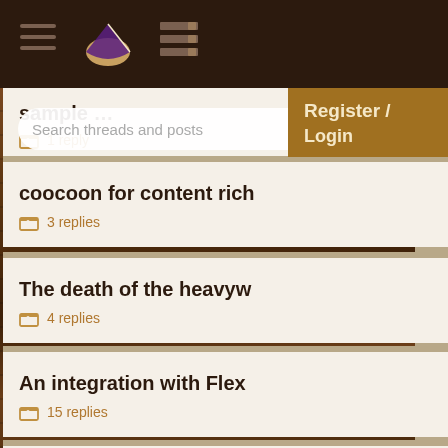Forum header bar with hamburger menu, pie icon, and grid icon
[Figure (screenshot): Register / Login dropdown button overlaid on top right]
Search threads and posts
sample... — 1 reply
coocoon for content rich — 3 replies
The death of the heavyw — 4 replies
An integration with Flex — 15 replies
Is Agile technology depe — 7 replies